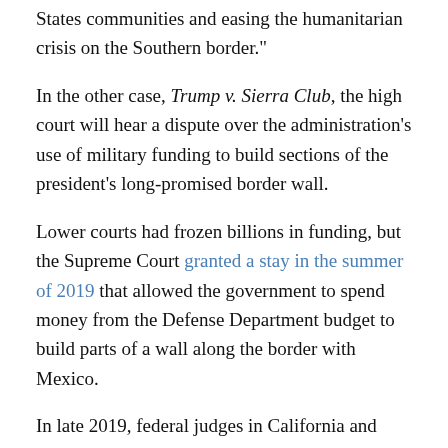States communities and easing the humanitarian crisis on the Southern border."
In the other case, Trump v. Sierra Club, the high court will hear a dispute over the administration's use of military funding to build sections of the president's long-promised border wall.
Lower courts had frozen billions in funding, but the Supreme Court granted a stay in the summer of 2019 that allowed the government to spend money from the Defense Department budget to build parts of a wall along the border with Mexico.
In late 2019, federal judges in California and Texas ruled against the president's plan to shift money around, saying the administration cannot reallocate money Congress has appropriated for other purposes.